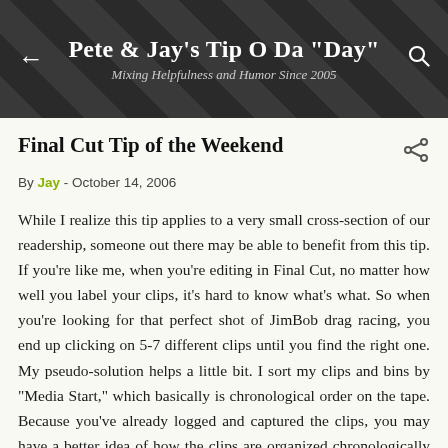Pete & Jay's Tip O Da "Day" — Mixing Helpfulness and Humor Since 2005
Final Cut Tip of the Weekend
By Jay - October 14, 2006
While I realize this tip applies to a very small cross-section of our readership, someone out there may be able to benefit from this tip. If you're like me, when you're editing in Final Cut, no matter how well you label your clips, it's hard to know what's what. So when you're looking for that perfect shot of JimBob drag racing, you end up clicking on 5-7 different clips until you find the right one. My pseudo-solution helps a little bit. I sort my clips and bins by "Media Start," which basically is chronological order on the tape. Because you've already logged and captured the clips, you may have a better idea of how the clips are organized chronologically rather than